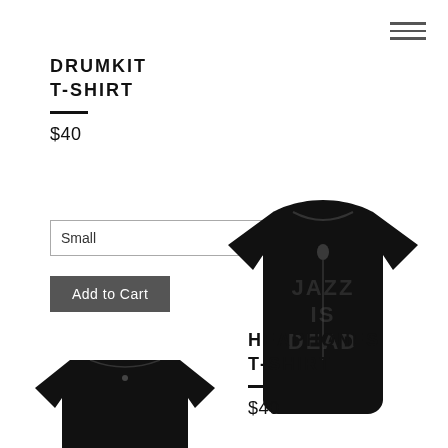hamburger menu icon
DRUMKIT
T-SHIRT
$40
[Figure (screenshot): Size selector dropdown showing 'Small' with up/down arrows]
Add to Cart
[Figure (photo): Black t-shirt with 'JAZZ IS DEAD' graphic print and a figure silhouette]
HEAPHONES
T-SHIRT
$40
[Figure (photo): Black t-shirt partially visible at bottom left]